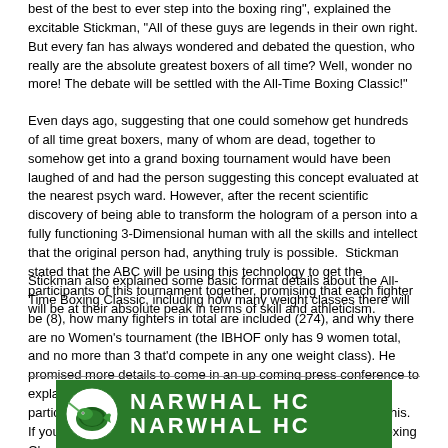best of the best to ever step into the boxing ring", explained the excitable Stickman, "All of these guys are legends in their own right.  But every fan has always wondered and debated the question, who really are the absolute greatest boxers of all time?   Well, wonder no more!  The debate will be settled with the All-Time Boxing Classic!"
Even days ago, suggesting that one could somehow get hundreds of all time great boxers, many of whom are dead, together to somehow get into a grand boxing tournament would have been laughed of and had the person suggesting this concept evaluated at the nearest psych ward.   However, after the recent scientific discovery of being able to transform the hologram of a person into a fully functioning 3-Dimensional human with all the skills and intellect that the original person had, anything truly is possible.  Stickman stated that the ABC will be using this technology to get the participants of this tournament together, promising that each fighter will be at their absolute peak in terms of skill and athleticism.
Stickman also explained some basic format details about the All-Time Boxing Classic, including how many weight classes there will be (8), how many fighters in total are included (274), and why there are no Women's tournament (the IBHOF only has 9 women total, and no more than 3 that'd compete in any one weight class).    He promised more details to come in an up coming press conference to explain the finer points of the tournament and to announce its participants.   "As I conclude this meeting today, let me just say this.  If you're a boxing fan and are not excited to see the All-Time Boxing Classic, what the heck is wrong with you?"
[Figure (logo): Narwhal HC banner with green background, narwhal logo on left, and text NARWHAL HC in two rows of large white letters]